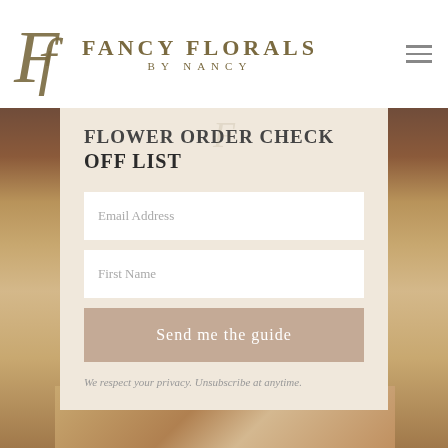[Figure (logo): Fancy Florals by Nancy logo with stylized FF monogram in olive/gold color]
FLOWER ORDER CHECK OFF LIST
Email Address
First Name
Send me the guide
We respect your privacy. Unsubscribe at anytime.